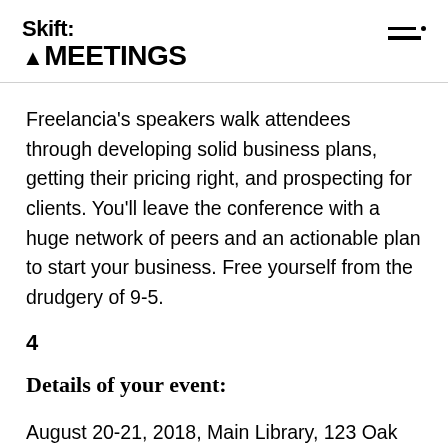Skift MEETINGS
Freelancia’s speakers walk attendees through developing solid business plans, getting their pricing right, and prospecting for clients. You’ll leave the conference with a huge network of peers and an actionable plan to start your business. Free yourself from the drudgery of 9-5.
4
Details of your event:
August 20-21, 2018, Main Library, 123 Oak Street, Granville, TX 12345